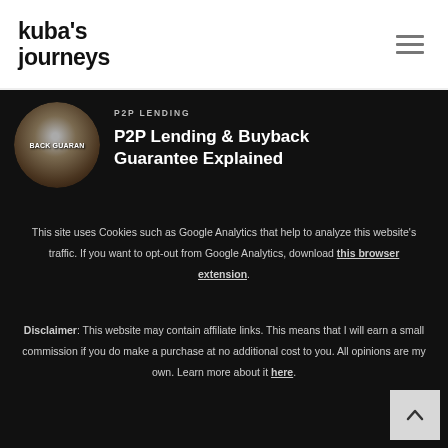kuba's journeys
[Figure (logo): Kuba's Journeys blog logo with stylized text and hamburger menu icon]
P2P LENDING
P2P Lending & Buyback Guarantee Explained
[Figure (photo): Circular thumbnail image showing buyback guarantee related photo with text BACK GUARAN]
This site uses Cookies such as Google Analytics that help to analyze this website's traffic. If you want to opt-out from Google Analytics, download this browser extension.
Disclaimer: This website may contain affiliate links. This means that I will earn a small commission if you do make a purchase at no additional cost to you. All opinions are my own. Learn more about it here.